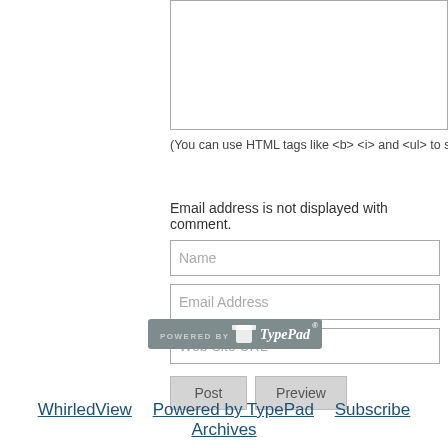(You can use HTML tags like <b> <i> and <ul> to style you
Email address is not displayed with comment.
[Figure (screenshot): Web form with Name, Email Address, and Web Site URL text input fields, and Post and Preview buttons]
[Figure (logo): Powered by TypePad badge/logo]
WhirledView   Powered by TypePad   Subscribe   Archives